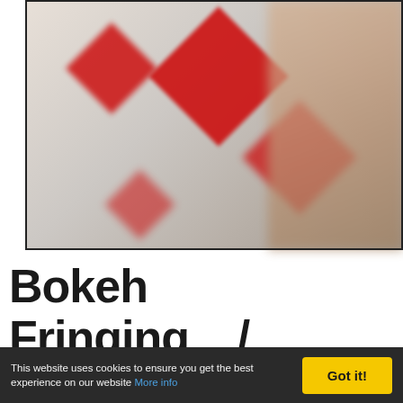[Figure (photo): Blurred bokeh photo showing red diamond card shapes out of focus against a light grey background, with a blurred female face visible on the right side.]
Bokeh Fringing / Aberrations (LoCA)
Bokeh fringing is a comme...
This website uses cookies to ensure you get the best experience on our website More info